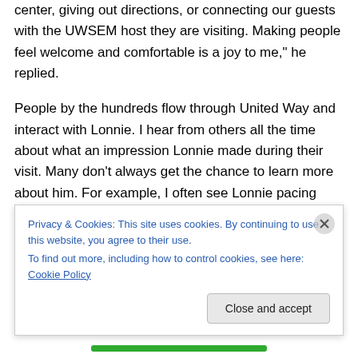center, giving out directions, or connecting our guests with the UWSEM host they are visiting. Making people feel welcome and comfortable is a joy to me," he replied.
People by the hundreds flow through United Way and interact with Lonnie. I hear from others all the time about what an impression Lonnie made during their visit. Many don't always get the chance to learn more about him. For example, I often see Lonnie pacing behind the front desk talking to himself with expressive hand motions. "Lonnie, what world problem are you solving right now?" I might
Privacy & Cookies: This site uses cookies. By continuing to use this website, you agree to their use.
To find out more, including how to control cookies, see here: Cookie Policy